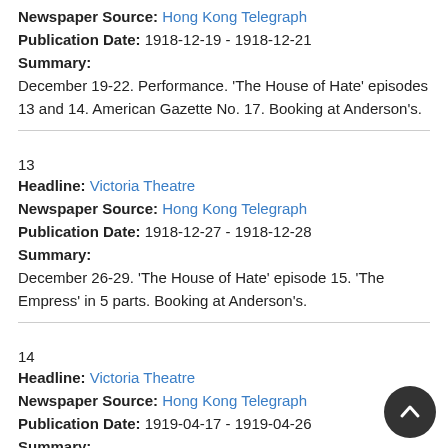Newspaper Source: Hong Kong Telegraph
Publication Date: 1918-12-19 - 1918-12-21
Summary:
December 19-22. Performance. 'The House of Hate' episodes 13 and 14. American Gazette No. 17. Booking at Anderson's.
13
Headline: Victoria Theatre
Newspaper Source: Hong Kong Telegraph
Publication Date: 1918-12-27 - 1918-12-28
Summary:
December 26-29. 'The House of Hate' episode 15. 'The Empress' in 5 parts. Booking at Anderson's.
14
Headline: Victoria Theatre
Newspaper Source: Hong Kong Telegraph
Publication Date: 1919-04-17 - 1919-04-26
Summary:
Tonight, 'The House of Hate,' episode 16 'The Vial of Death' and episode 17 'The Death Switch.' Booking at Anderson's. April 24 and